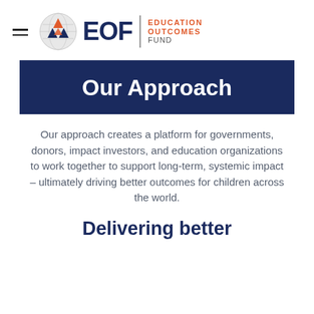[Figure (logo): Education Outcomes Fund (EOF) logo with globe icon, hamburger menu icon, bold navy 'EOF' text, vertical divider, and orange/gray text 'EDUCATION OUTCOMES FUND']
Our Approach
Our approach creates a platform for governments, donors, impact investors, and education organizations to work together to support long-term, systemic impact – ultimately driving better outcomes for children across the world.
Delivering better